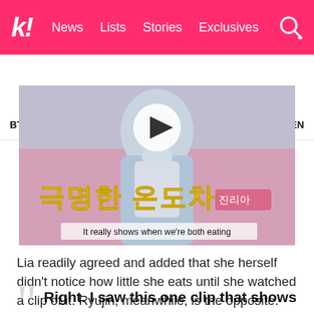k! | News  Lists  Stories  Exclusives
BTS  BLACKPINK  TWICE  Girls' Generation  SEVENTEEN
[Figure (screenshot): Video thumbnail showing a person in a light blue jacket against a pink background. Korean text '극명한 온도차' (Extreme temperature difference) in yellow/white with a name tag overlay, and subtitle 'It really shows when we're both eating'. A play button overlay is visible at top center.]
Lia readily agreed and added that she herself didn't notice how little she eats until she watched a clip of it. Ryujin, meanwhile, is the opposite.
Right. I saw this one clip that shows